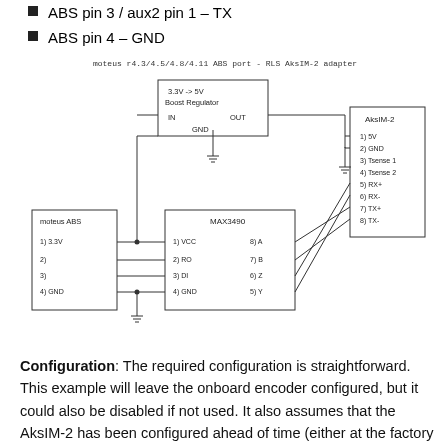ABS pin 3 / aux2 pin 1 – TX
ABS pin 4 – GND
[Figure (schematic): Wiring schematic showing moteus ABS port connected to MAX3490 RS-485 transceiver, a 3.3V->5V Boost Regulator, and RLS AksIM-2 adapter. moteus ABS: 1)3.3V, 2), 3), 4)GND. MAX3490: 1)VCC, 2)RO, 3)DI, 4)GND on left; 8)A, 7)B, 6)Z, 5)Y on right. Boost Regulator: IN, OUT, GND. AksIM-2: 1)5V, 2)GND, 3)Tsense 1, 4)Tsense 2, 5)RX+, 6)RX-, 7)TX+, 8)TX-. Caption: moteus r4.3/4.5/4.8/4.11 ABS port - RLS AksIM-2 adapter]
moteus r4.3/4.5/4.8/4.11 ABS port - RLS AksIM-2 adapter
Configuration: The required configuration is straightforward. This example will leave the onboard encoder configured, but it could also be disabled if not used. It also assumes that the AksIM-2 has been configured ahead of time (either at the factory or using RLS tools) to 1000000 baud.